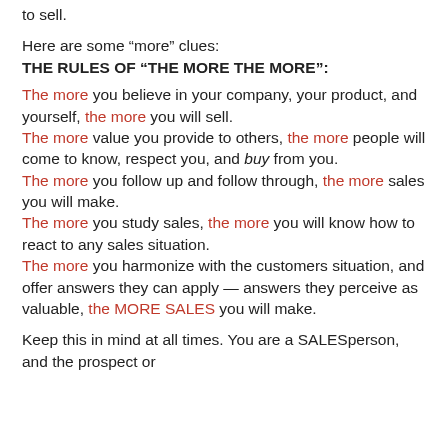to sell.
Here are some “more” clues:
THE RULES OF “THE MORE THE MORE”:
The more you believe in your company, your product, and yourself, the more you will sell.
The more value you provide to others, the more people will come to know, respect you, and buy from you.
The more you follow up and follow through, the more sales you will make.
The more you study sales, the more you will know how to react to any sales situation.
The more you harmonize with the customers situation, and offer answers they can apply — answers they perceive as valuable, the MORE SALES you will make.
Keep this in mind at all times. You are a SALESperson, and the prospect or